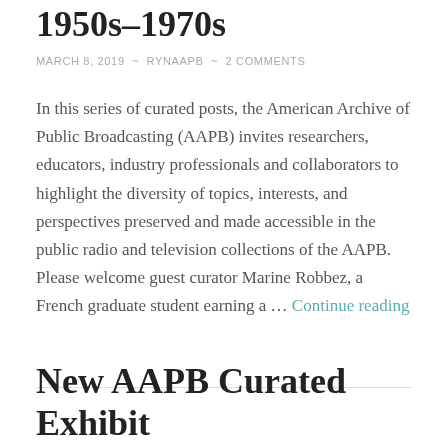1950s–1970s
MARCH 8, 2019 ~ RYNAAPB ~ 2 COMMENTS
In this series of curated posts, the American Archive of Public Broadcasting (AAPB) invites researchers, educators, industry professionals and collaborators to highlight the diversity of topics, interests, and perspectives preserved and made accessible in the public radio and television collections of the AAPB. Please welcome guest curator Marine Robbez, a French graduate student earning a … Continue reading
New AAPB Curated Exhibit